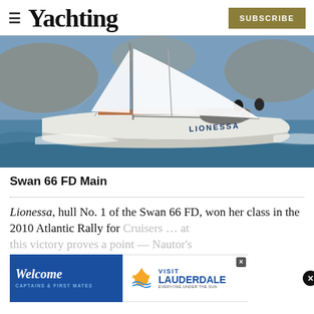Yachting | SUBSCRIBE
[Figure (photo): Sailing yacht named LIONESSA heeling in choppy water with rocky coastline in background, crew visible on deck]
Swan 66 FD Main
Lionessa, hull No. 1 of the Swan 66 FD, won her class in the 2010 Atlantic Rally for Cruisers … this victory proves a point — Nautor's
[Figure (infographic): Advertisement overlay: Welcome Captains & First Mates | Visit Fort Lauderdale Every Under the Sun, with close button]